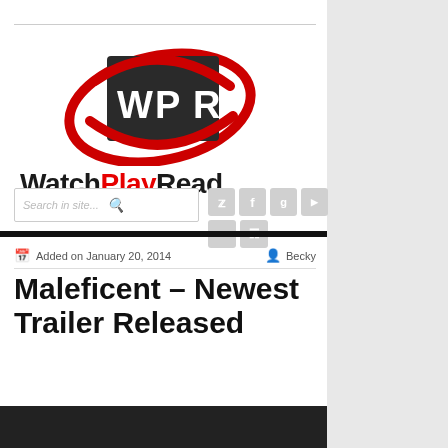[Figure (logo): WatchPlayRead website logo with WPR shield emblem in dark gray/red and site name 'WatchPlayRead' in bold black with 'Play' in red]
[Figure (screenshot): Search bar with placeholder 'Search in site...' and social media icon buttons (Twitter, Facebook, Google+, YouTube, Email, RSS)]
Added on January 20, 2014   Becky
Maleficent – Newest Trailer Released
[Figure (photo): Dark/black image at bottom of page, partial view]